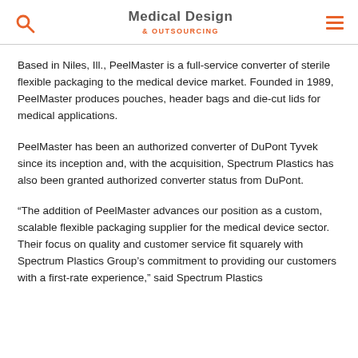Medical Design & Outsourcing
Based in Niles, Ill., PeelMaster is a full-service converter of sterile flexible packaging to the medical device market. Founded in 1989, PeelMaster produces pouches, header bags and die-cut lids for medical applications.
PeelMaster has been an authorized converter of DuPont Tyvek since its inception and, with the acquisition, Spectrum Plastics has also been granted authorized converter status from DuPont.
“The addition of PeelMaster advances our position as a custom, scalable flexible packaging supplier for the medical device sector. Their focus on quality and customer service fit squarely with Spectrum Plastics Group’s commitment to providing our customers with a first-rate experience,” said Spectrum Plastics